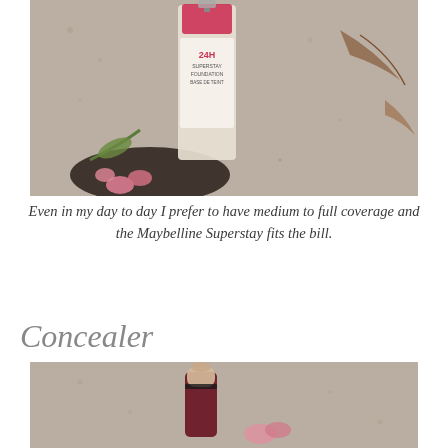[Figure (photo): A Maybelline Superstay 24H foundation bottle lying on sandy/gravelly ground with pink flowers around it.]
Even in my day to day I prefer to have medium to full coverage and the Maybelline Superstay fits the bill.
Concealer
[Figure (photo): A concealer product (appears to be a roller/brush-tip concealer) on sandy ground with a pink flower.]